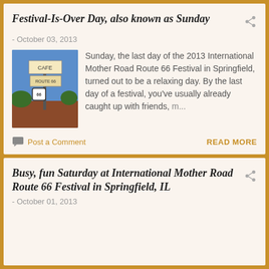Festival-Is-Over Day, also known as Sunday
- October 03, 2013
[Figure (photo): Photo of Route 66 signs on a pole in front of a brick building with blue sky]
Sunday, the last day of the 2013 International Mother Road Route 66 Festival in Springfield, turned out to be a relaxing day. By the last day of a festival, you've usually already caught up with friends, m...
Post a Comment
READ MORE
Busy, fun Saturday at International Mother Road Route 66 Festival in Springfield, IL
- October 01, 2013